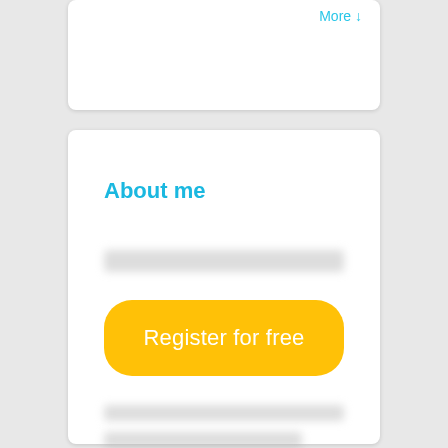More ↓
About me
[blurred/redacted text]
Register for free
[blurred/redacted text lines]